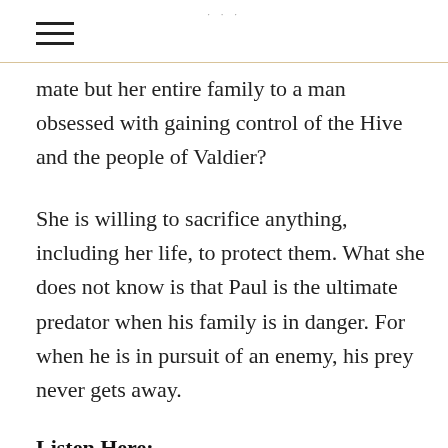· · ·
mate but her entire family to a man obsessed with gaining control of the Hive and the people of Valdier?
She is willing to sacrifice anything, including her life, to protect them. What she does not know is that Paul is the ultimate predator when his family is in danger. For when he is in pursuit of an enemy, his prey never gets away.
Listen Here: